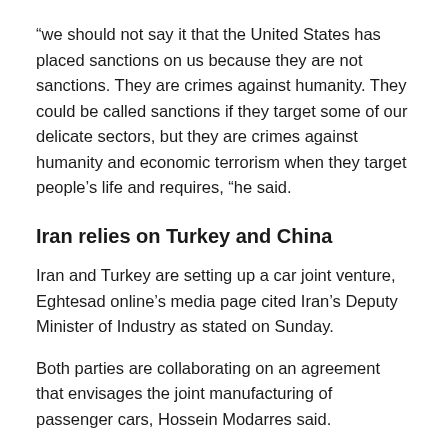“we should not say it that the United States has placed sanctions on us because they are not sanctions. They are crimes against humanity. They could be called sanctions if they target some of our delicate sectors, but they are crimes against humanity and economic terrorism when they target people’s life and requires, “he said.
Iran relies on Turkey and China
Iran and Turkey are setting up a car joint venture, Eghtesad online’s media page cited Iran’s Deputy Minister of Industry as stated on Sunday.
Both parties are collaborating on an agreement that envisages the joint manufacturing of passenger cars, Hossein Modarres said.